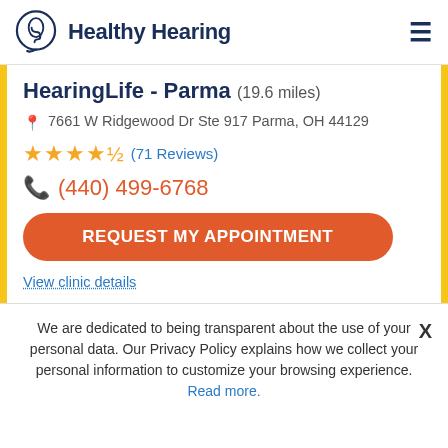Healthy Hearing
HearingLife - Parma (19.6 miles)
7661 W Ridgewood Dr Ste 917 Parma, OH 44129
★★★★½ (71 Reviews)
(440) 499-6768
REQUEST MY APPOINTMENT
View clinic details
We are dedicated to being transparent about the use of your personal data. Our Privacy Policy explains how we collect your personal information to customize your browsing experience. Read more.